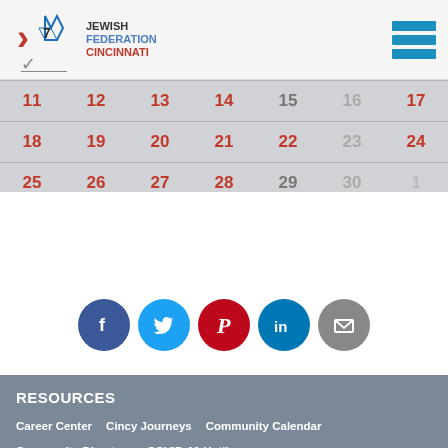[Figure (logo): Jewish Federation Cincinnati logo with star-of-david icon]
| 11 | 12 | 13 | 14 | 15 | 16 | 17 |
| 18 | 19 | 20 | 21 | 22 | 23 | 24 |
| 25 | 26 | 27 | 28 | 29 | 30 | 1 |
[Figure (infographic): Social media share icons: Facebook, Twitter, Pinterest, LinkedIn, Email]
RESOURCES
Career Center
Cincy Journeys
Community Calendar
Community Directory
COVID-19 Hotline